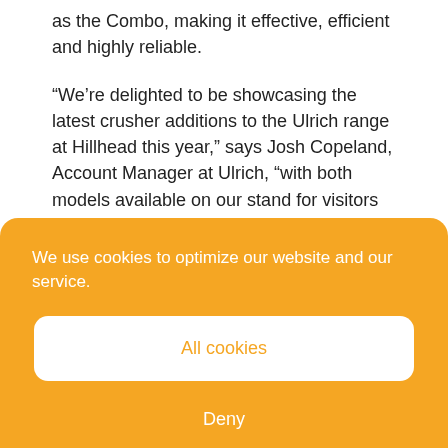as the Combo, making it effective, efficient and highly reliable.
“We’re delighted to be showcasing the latest crusher additions to the Ulrich range at Hillhead this year,” says Josh Copeland, Account Manager at Ulrich, “with both models available on our stand for visitors to experience first-hand.
“There's so much to commend the machines, whether it's their ability to crush materials, such as concrete, rock, brick or roof tiles, to more manageable and economical sizes, or the fact that
We use cookies to optimize our website and our service.
All cookies
Deny
Cookie policy